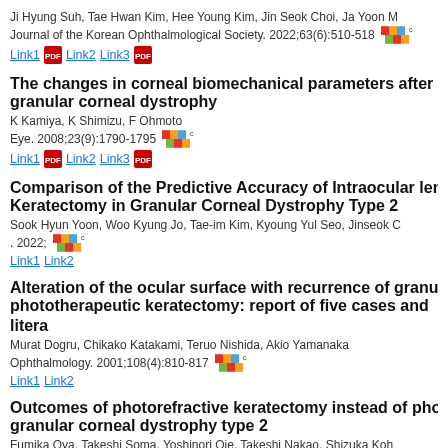Ji Hyung Suh, Tae Hwan Kim, Hee Young Kim, Jin Seok Choi, Ja Yoon M
Journal of the Korean Ophthalmological Society. 2022;63(6):510-518
Link1 Link2 Link3
The changes in corneal biomechanical parameters after phototherapeutic keratectomy in granular corneal dystrophy
K Kamiya, K Shimizu, F Ohmoto
Eye. 2008;23(9):1790-1795
Link1 Link2 Link3
Comparison of the Predictive Accuracy of Intraocular lens Power Calculation after Phototherapeutic Keratectomy in Granular Corneal Dystrophy Type 2
Sook Hyun Yoon, Woo Kyung Jo, Tae-im Kim, Kyoung Yul Seo, Jinseok C
. 2022;
Link1 Link2
Alteration of the ocular surface with recurrence of granular/avellino corneal dystrophy deposits after phototherapeutic keratectomy: report of five cases and literature review
Murat Dogru, Chikako Katakami, Teruo Nishida, Akio Yamanaka
Ophthalmology. 2001;108(4):810-817
Link1 Link2
Outcomes of photorefractive keratectomy instead of phototherapeutic keratectomy for granular corneal dystrophy type 2
Fumika Oya, Takeshi Soma, Yoshinori Oie, Takeshi Nakao, Shizuka Koh